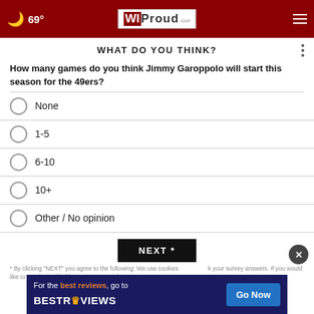69° WIProud.com
WHAT DO YOU THINK?
How many games do you think Jimmy Garoppolo will start this season for the 49ers?
None
1-5
6-10
10+
Other / No opinion
NEXT *
* By clicking "NEXT" you agree to the following: We use cookies and your survey answers. If you would like to continue with this survey please read...
[Figure (advertisement): BestReviews ad banner: 'For the best reviews, go to BESTREVIEWS' with a 'Go Now' button]